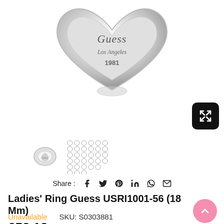[Figure (photo): Close-up of a silver Guess brand heart-shaped ring with 'Guess Los Angeles 1981' engraved on the face, shown from above against a white background.]
[Figure (photo): Small thumbnail of the silver Guess ring shown at an angle.]
[Figure (photo): Thumbnail showing a grid of circular size/variant selectors.]
Share :
Ladies' Ring Guess USRI1001-56 (18 Mm)
Unavailable    SKU: S0303881
£53.13